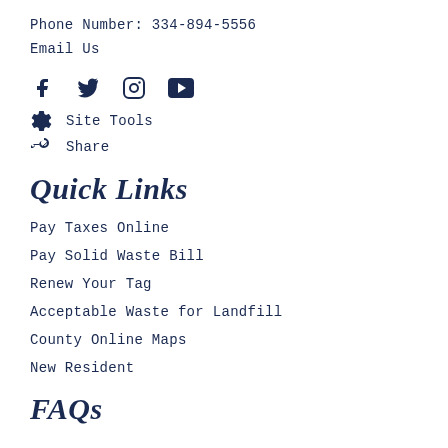Phone Number:  334-894-5556
Email Us
[Figure (other): Social media icons: Facebook, Twitter, Instagram, YouTube]
Site Tools
Share
Quick Links
Pay Taxes Online
Pay Solid Waste Bill
Renew Your Tag
Acceptable Waste for Landfill
County Online Maps
New Resident
FAQs